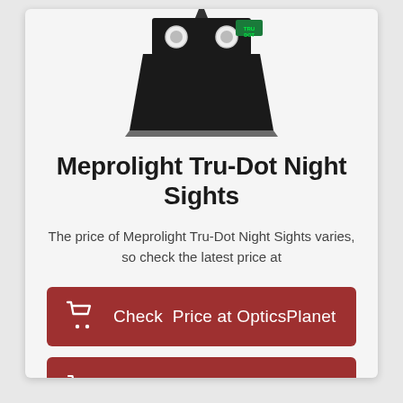[Figure (photo): Product photo of Meprolight Tru-Dot Night Sights — a black triangular sight with white tubes and green TRU-DOT branding, viewed from the rear]
Meprolight Tru-Dot Night Sights
The price of Meprolight Tru-Dot Night Sights varies, so check the latest price at
Check Price at OpticsPlanet
Check Price at Amazon